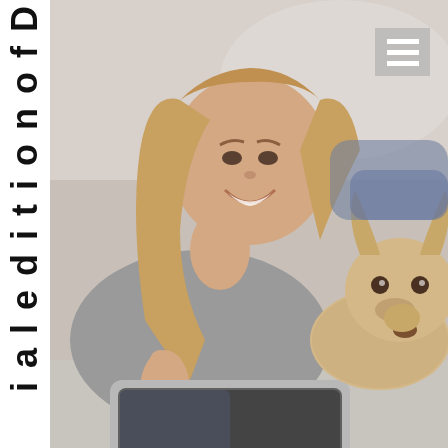[Figure (photo): A smiling young woman with long blonde hair lying on a couch, using a tablet/iPad with her finger. Beside her is a small fluffy tan/beige dog (appears to be a terrier). She is wearing a grey sweater. The background is a light neutral interior. A hamburger menu icon (three white horizontal lines on a grey rounded square) is visible in the upper right corner.]
i a l e d i t i o n o f D